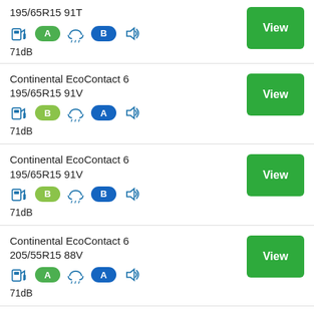195/65R15 91T — Fuel: A, Wet: B, Noise: 71dB — View
Continental EcoContact 6 195/65R15 91V — Fuel: B, Wet: A, Noise: 71dB — View
Continental EcoContact 6 195/65R15 91V — Fuel: B, Wet: B, Noise: 71dB — View
Continental EcoContact 6 205/55R15 88V — Fuel: A, Wet: A, Noise: 71dB — View
Continental EcoContact 6 — (partial, cut off at bottom)